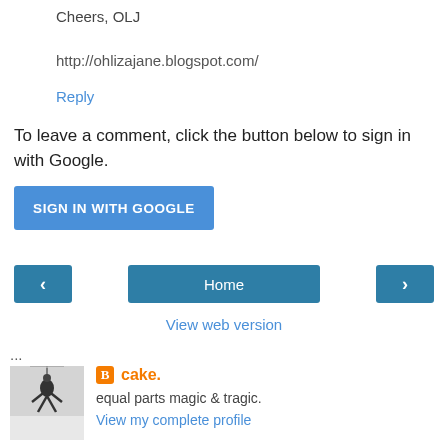Cheers, OLJ
http://ohlizajane.blogspot.com/
Reply
To leave a comment, click the button below to sign in with Google.
SIGN IN WITH GOOGLE
[Figure (other): Navigation bar with left arrow button, Home button, and right arrow button]
View web version
...
[Figure (photo): Black and white photo of a person in protective gear hanging from a wire or harness in a snowy or icy outdoor environment]
cake.
equal parts magic & tragic.
View my complete profile